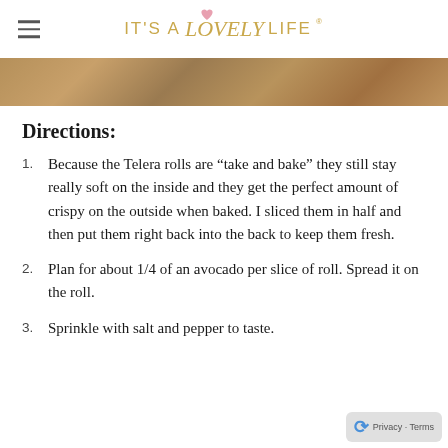IT'S A Lovely LIFE
[Figure (photo): A close-up food photo strip showing baked bread rolls, warm brown tones]
Directions:
Because the Telera rolls are “take and bake” they still stay really soft on the inside and they get the perfect amount of crispy on the outside when baked. I sliced them in half and then put them right back into the back to keep them fresh.
Plan for about 1/4 of an avocado per slice of roll. Spread it on the roll.
Sprinkle with salt and pepper to taste.